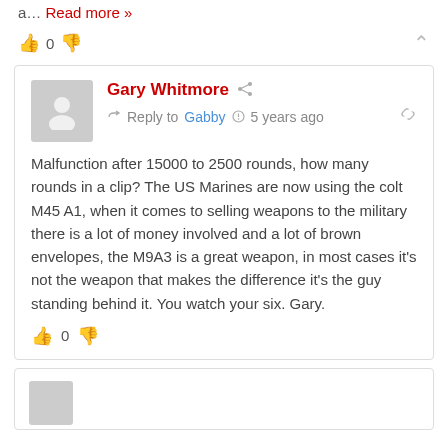a… Read more »
👍 0 👎
Gary Whitmore — Reply to Gabby · 5 years ago
Malfunction after 15000 to 2500 rounds, how many rounds in a clip? The US Marines are now using the colt M45 A1, when it comes to selling weapons to the military there is a lot of money involved and a lot of brown envelopes, the M9A3 is a great weapon, in most cases it's not the weapon that makes the difference it's the guy standing behind it. You watch your six. Gary.
👍 0 👎